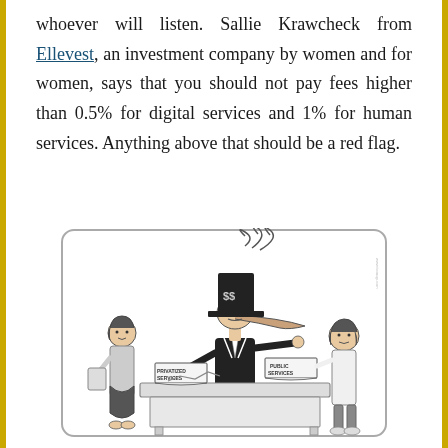whoever will listen. Sallie Krawcheck from Ellevest, an investment company by women and for women, says that you should not pay fees higher than 0.5% for digital services and 1% for human services. Anything above that should be a red flag.
[Figure (illustration): Black and white cartoon illustration showing a salesman with a top hat marked with dollar signs and a long Pinocchio-style nose, sitting at a desk with books labeled 'Privatized Services' and 'Public Services', speaking to two people (a woman on the left and a man on the right). Smoke rises from the hat.]